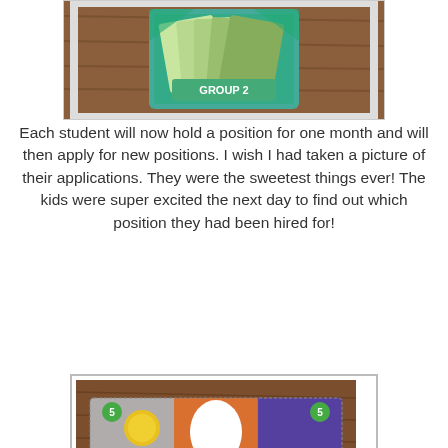[Figure (photo): Top portion of a classroom activity image showing 'Group 2' card with play money cards]
Each student will now hold a position for one month and will then apply for new positions. I wish I had taken a picture of their applications. They were the sweetest things ever! The kids were super excited the next day to find out which position they had been hired for!
[Figure (photo): Student-made five dollar bill craft on wooden table, with green circles showing '5' in corners, yellow sun, orange oval center, purple section, and 'Five Dollars' label. Watermark: 'second grade shenanigans']
[Figure (photo): Student-made twenty dollar bill craft on wooden table, with green crayon coloring, orange circles showing '20' and blue circle showing '20', purple gear/rosette, white oval center]